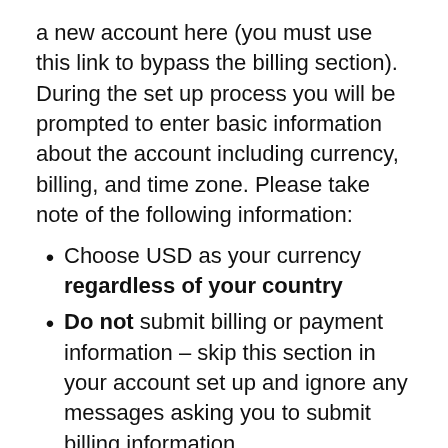a new account here (you must use this link to bypass the billing section). During the set up process you will be prompted to enter basic information about the account including currency, billing, and time zone. Please take note of the following information:
Choose USD as your currency regardless of your country
Do not submit billing or payment information – skip this section in your account set up and ignore any messages asking you to submit billing information
2. Create a campaign
After you set up your account, you will need to